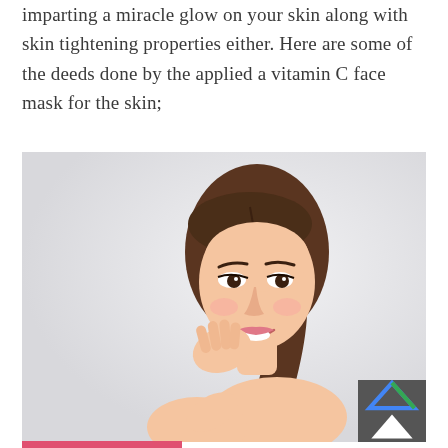imparting a miracle glow on your skin along with skin tightening properties either. Here are some of the deeds done by the applied a vitamin C face mask for the skin;
[Figure (photo): A young Asian woman smiling and touching her face gently with her hand, bare shoulders, on a light gray background. UI overlays include a dark menu widget on the left, a blue Facebook Messenger button at bottom left, and a reCAPTCHA badge at bottom right.]